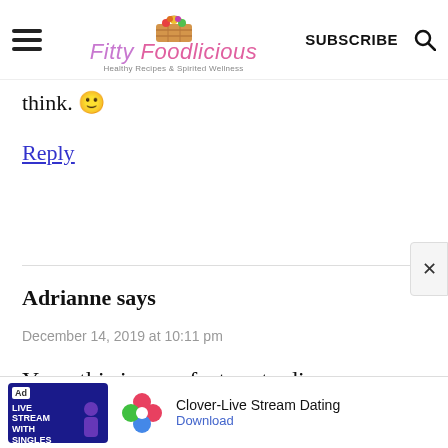Fitty Foodlicious — Healthy Recipes & Spirited Wellness | SUBSCRIBE
think. 🙂
Reply
Adrianne says
December 14, 2019 at 10:11 pm
Yum, this is a perfect go to dinner
[Figure (screenshot): Advertisement banner for Clover-Live Stream Dating app with 'Ad' label, app icon, and Download link]